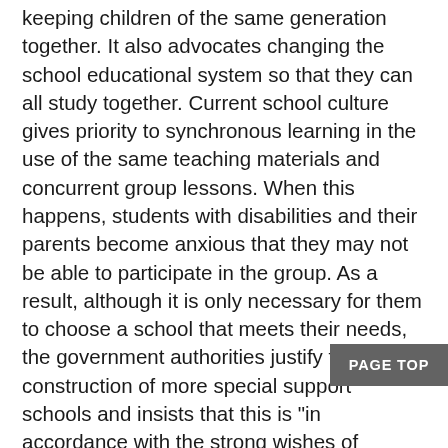keeping children of the same generation together. It also advocates changing the school educational system so that they can all study together. Current school culture gives priority to synchronous learning in the use of the same teaching materials and concurrent group lessons. When this happens, students with disabilities and their parents become anxious that they may not be able to participate in the group. As a result, although it is only necessary for them to choose a school that meets their needs, the government authorities justify the construction of more special support schools and insists that this is "in accordance with the strong wishes of parents and child."
But is anything permissible as long as the children and parents approve? I am also managing a group called Co-net (ventilator users network), through which I came to know that in some regions with inadequate resources and information, parents cannot provide adequate care for their children once they are placed on artificial respirators, and the children went their lives in long-term care facilities.